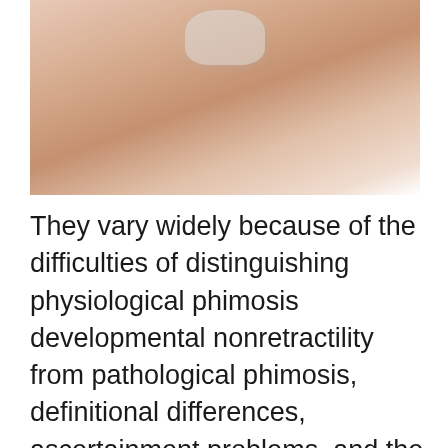[Figure (photo): Close-up photo of a human hand/palm holding a small transparent medical device, against a white background.]
They vary widely because of the difficulties of distinguishing physiological phimosis developmental nonretractility from pathological phimosis, definitional differences, ascertainment problems, and the multiple additional influences on post-neonatal circumcision rates in cultures where most newborn males are circumcised. She was 14 and he was 15 when they married in However, the presence and nature of his genital anomaly is not considered certain, and some scholars such as Vincent Cronin and Simone Bertiere assert that surgical repair would have been mentioned in the records of his medical treatments if this had indeed occurred